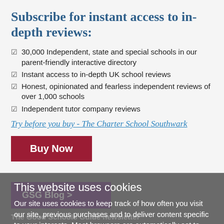Subscribe for instant access to in-depth reviews:
30,000 Independent, state and special schools in our parent-friendly interactive directory
Instant access to in-depth UK school reviews
Honest, opinionated and fearless independent reviews of over 1,000 schools
Independent tutor company reviews
Try before you buy - The Charter School Southwark
Buy Now
GSG Blog >
This website uses cookies
Our site uses cookies to keep track of how often you visit our site, previous purchases and to deliver content specific to your interests. Most browsers are automatically set to accept cookies but usually you can alter the settings of your
The Good Schools Guide newsletter
Educational insight, in your inbox. Sign up for our popular newsletters.